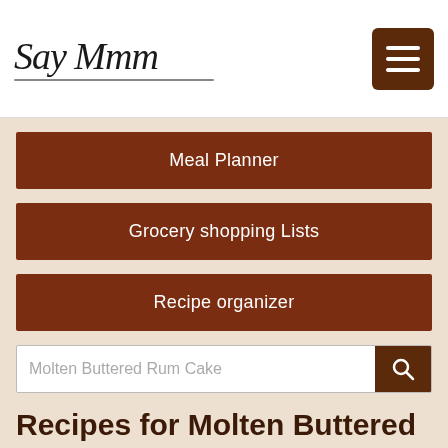Say Mmm
Meal Planner
Grocery shopping Lists
Recipe organizer
Molten Buttered Rum Cake
Recipes for Molten Buttered Rum Cake with grocery lists and nutritional information | Page 9
[Figure (photo): Photo of a molten chocolate cake on stacked plates]